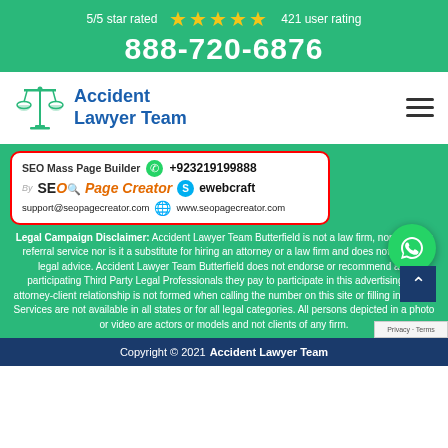5/5 star rated ★★★★★ 421 user rating
888-720-6876
[Figure (logo): Accident Lawyer Team logo with scales of justice icon and blue text]
[Figure (infographic): SEO Mass Page Builder / SEO Page Creator promotional card with contact info: +923219199888, ewebcraft, support@seopagecreator.com, www.seopagecreator.com]
Legal Campaign Disclaimer: Accident Lawyer Team Butterfield is not a law firm, nor a lawyer referral service nor is it a substitute for hiring an attorney or a law firm and does not provide legal advice. Accident Lawyer Team Butterfield does not endorse or recommend any participating Third Party Legal Professionals they pay to participate in this advertising. An attorney-client relationship is not formed when calling the number on this site or filling in a form. Services are not available in all states or for all legal categories. All persons depicted in a photo or video are actors or models and not clients of any firm.
Copyright © 2021 Accident Lawyer Team